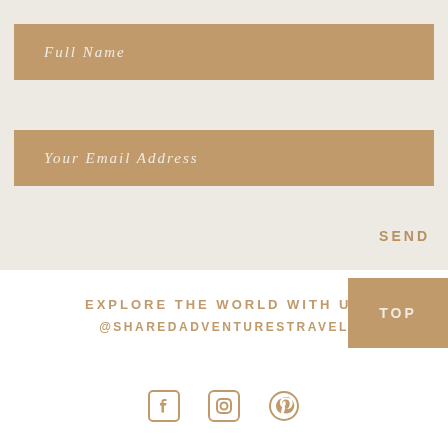Full Name
Your Email Address
SEND
EXPLORE THE WORLD WITH US
@SHAREDADVENTURESTRAVEL
TOP
[Figure (illustration): Social media icons: Facebook, Instagram, Pinterest in tan/brown color]